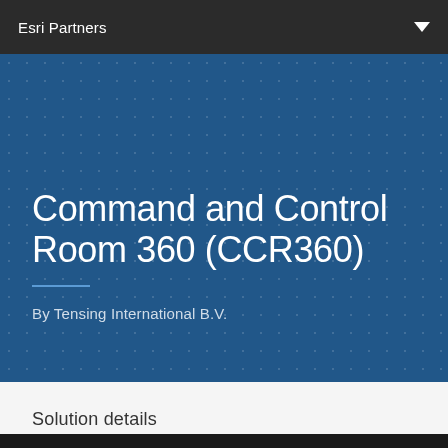Esri Partners
Command and Control Room 360 (CCR360)
By Tensing International B.V.
Solution details